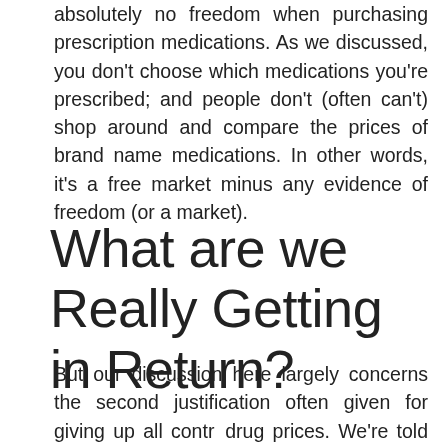absolutely no freedom when purchasing prescription medications. As we discussed, you don't choose which medications you're prescribed; and people don't (often can't) shop around and compare the prices of brand name medications. In other words, it's a free market minus any evidence of freedom (or a market).
What are we Really Getting in Return?
But our discussion here largely concerns the second justification often given for giving up all control of drug prices. We're told that the high prices Americans pay for drugs are needed to generate the money